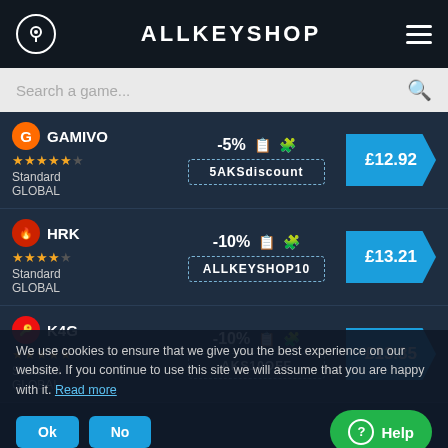ALLKEYSHOP
Search a game...
| Shop | Coupon | Price |
| --- | --- | --- |
| GAMIVO ★★★★★☆ Standard GLOBAL | -5% 5AKSdiscount | £12.92 |
| HRK ★★★★☆ Standard GLOBAL | -10% ALLKEYSHOP10 | £13.21 |
| K4G ★★★★★ Standard GLOBAL | -10% AKS10OFF | £13.35 |
We use cookies to ensure that we give you the best experience on our website. If you continue to use this site we will assume that you are happy with it. Read more
Ok  No  Help